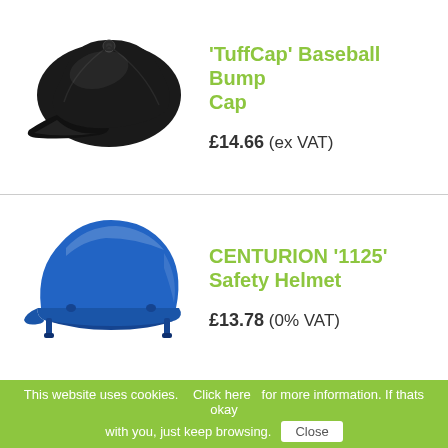[Figure (photo): Black baseball bump cap viewed from the side]
'TuffCap' Baseball Bump Cap
£14.66 (ex VAT)
[Figure (photo): Blue Centurion safety hard hat helmet]
CENTURION '1125' Safety Helmet
£13.78 (0% VAT)
This website uses cookies.   Click here   for more information. If thats okay with you, just keep browsing.   Close